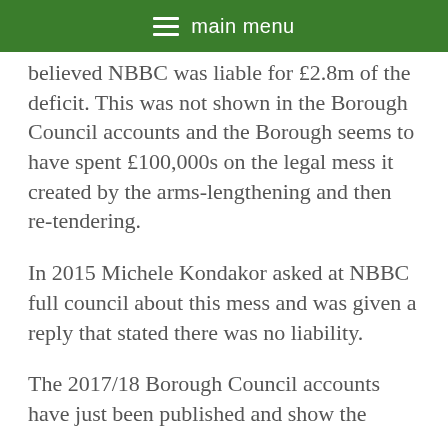main menu
believed NBBC was liable for £2.8m of the deficit. This was not shown in the Borough Council accounts and the Borough seems to have spent £100,000s on the legal mess it created by the arms-lengthening and then re-tendering.
In 2015 Michele Kondakor asked at NBBC full council about this mess and was given a reply that stated there was no liability.
The 2017/18 Borough Council accounts have just been published and show the